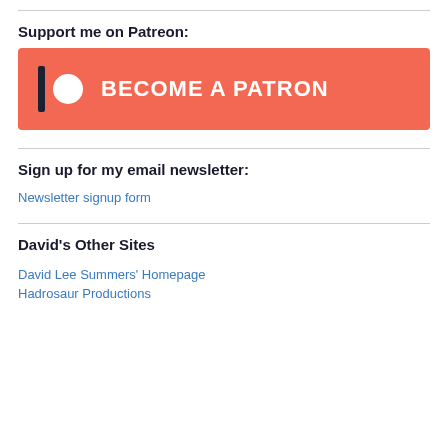Support me on Patreon:
[Figure (illustration): Patreon 'Become a Patron' button banner with coral/orange background, Patreon logo (vertical bar and white circle) on the left, and 'BECOME A PATRON' text in white bold letters.]
Sign up for my email newsletter:
Newsletter signup form
David's Other Sites
David Lee Summers' Homepage
Hadrosaur Productions